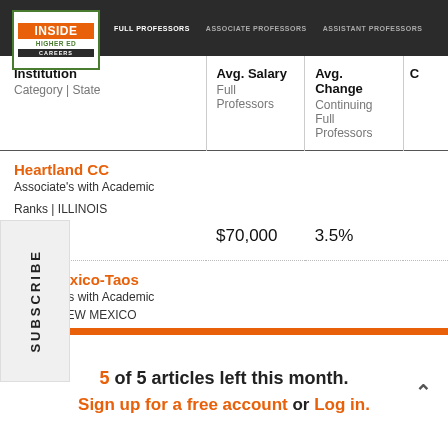[Figure (logo): Inside Higher Ed logo with green border, orange background for INSIDE text, green HIGHER ED text, dark CAREERS text below]
FULL PROFESSORS | CAREERS | ASSOCIATE PROFESSORS | ASSISTANT PROFESSORS
| Institution
Category | State | Avg. Salary
Full Professors | Avg. Change
Continuing Full Professors |  |
| --- | --- | --- | --- |
| Heartland CC
Associate's with Academic Ranks | ILLINOIS | $70,000 | 3.5% |  |
| New Mexico-Taos
Associate's with Academic Ranks | NEW MEXICO | $0 | N/A |  |
| Sauk Valley CC |  |  |  |
5 of 5 articles left this month.
Sign up for a free account or Log in.